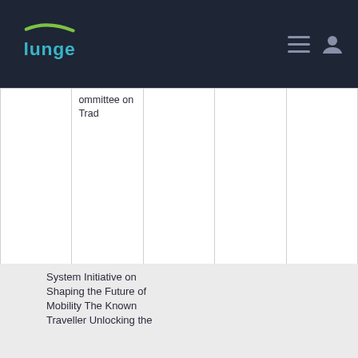[Figure (logo): Lunge logo with green swoosh and teal text on dark navy background, with hamburger menu and user icon on right]
| ommittee on Trad |  |  |  |  |
System Initiative on Shaping the Future of Mobility The Known Traveller Unlocking the